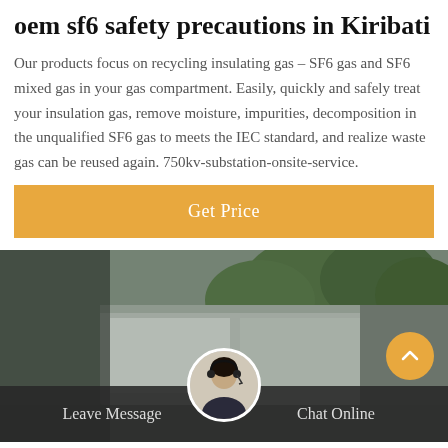oem sf6 safety precautions in Kiribati
Our products focus on recycling insulating gas – SF6 gas and SF6 mixed gas in your gas compartment. Easily, quickly and safely treat your insulation gas, remove moisture, impurities, decomposition in the unqualified SF6 gas to meets the IEC standard, and realize waste gas can be reused again. 750kv-substation-onsite-service.
Get Price
[Figure (photo): Industrial outdoor equipment/vehicle with trees in background, partially obscured]
Leave Message   Chat Online